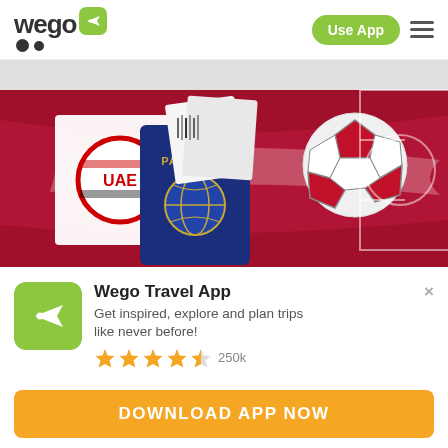[Figure (logo): Wego logo with green plane icon and circular dots]
Use App
[Figure (illustration): Hero banner showing UAE passport, boarding passes, and a soccer ball on a dark red background with soccer field markings]
Wego Travel App
Get inspired, explore and plan trips like never before!
★★★★½ 250k
DOWNLOAD APP NOW